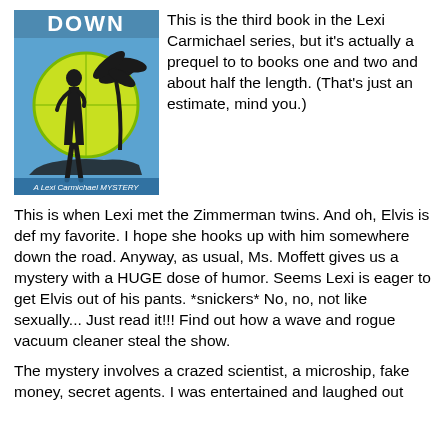[Figure (illustration): Book cover for a Lexi Carmichael Mystery showing a female silhouette against a yellow sun with palm trees, blue background, text 'DOWN' at top and 'A Lexi Carmichael MYSTERY' at bottom]
This is the third book in the Lexi Carmichael series, but it's actually a prequel to to books one and two and about half the length. (That's just an estimate, mind you.)
This is when Lexi met the Zimmerman twins. And oh, Elvis is def my favorite. I hope she hooks up with him somewhere down the road. Anyway, as usual, Ms. Moffett gives us a mystery with a HUGE dose of humor. Seems Lexi is eager to get Elvis out of his pants. *snickers* No, no, not like sexually... Just read it!!! Find out how a wave and rogue vacuum cleaner steal the show.
The mystery involves a crazed scientist, a microship, fake money, secret agents. I was entertained and laughed out